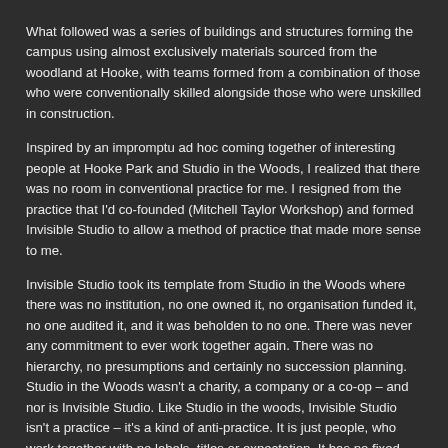What followed was a series of buildings and structures forming the campus using almost exclusively materials sourced from the woodland at Hooke, with teams formed from a combination of those who were conventionally skilled alongside those who were unskilled in construction.
Inspired by an impromptu ad hoc coming together of interesting people at Hooke Park and Studio in the Woods, I realized that there was no room in conventional practice for me. I resigned from the practice that I'd co-founded (Mitchell Taylor Workshop) and formed Invisible Studio to allow a method of practice that made more sense to me.
Invisible Studio took its template from Studio in the Woods where there was no institution, no one owned it, no organisation funded it, no one audited it, and it was beholden to no one. There was never any commitment to ever work together again. There was no hierarchy, no presumptions and certainly no succession planning. Studio in the Woods wasn't a charity, a company or a co-op – and nor is Invisible Studio. Like Studio in the woods, Invisible Studio isn't a practice – it's a kind of anti-practice. It is just people, who work together with no labels, titles or expectation. It has no fixed work force, no formal company – it is just a loose, unstructured collection of people who work together when the conditions are right, and don't when they aren't. The simple motivation is the creative work. Alongside this, the world of timber has become more and more fascinating to me. We've recently bought – with our neighbours – the 100 acre woodland around the